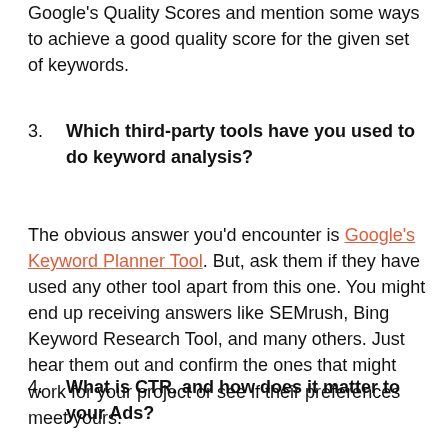Google's Quality Scores and mention some ways to achieve a good quality score for the given set of keywords.
3. Which third-party tools have you used to do keyword analysis?
The obvious answer you'd encounter is Google's Keyword Planner Tool. But, ask them if they have used any other tool apart from this one. You might end up receiving answers like SEMrush, Bing Keyword Research Tool, and many others. Just hear them out and confirm the ones that might work for your project or see if their preferences meet yours.
4. What is CTR, and how does it matter to your Ads?